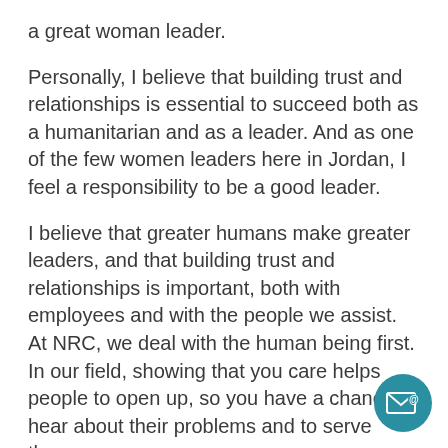a great woman leader.
Personally, I believe that building trust and relationships is essential to succeed both as a humanitarian and as a leader. And as one of the few women leaders here in Jordan, I feel a responsibility to be a good leader.
I believe that greater humans make greater leaders, and that building trust and relationships is important, both with employees and with the people we assist. At NRC, we deal with the human being first. In our field, showing that you care helps people to open up, so you have a chance to hear about their problems and to serve them.
[Figure (illustration): Teal circular email icon with envelope and @ symbol, positioned bottom-right corner]